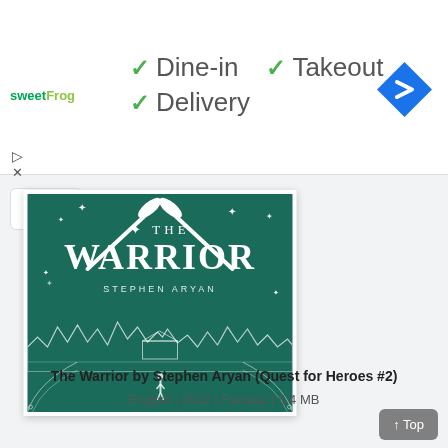[Figure (screenshot): Advertisement banner for sweetFrog with green checkmarks listing Dine-in, Takeout, and Delivery options, with a blue navigation diamond icon on the right]
[Figure (illustration): Book cover of 'The Warrior' by Stephen Aryan (Quest for Heroes #2) — dark teal/green cover with white title text, two crossed axes at top, starry night, mountain/forest landscape silhouette, ornate corner borders, and lone figure at bottom]
The Warrior by Stephen Aryan (Quest for Heroes #2)
English | 2022 | Fantasy | 5.4 MB